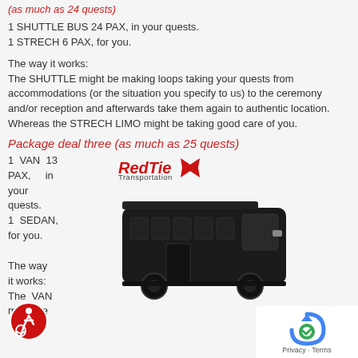(as much as 24 quests)
1 SHUTTLE BUS 24 PAX, in your quests.
1 STRECH 6 PAX, for you.
The way it works:
The SHUTTLE might be making loops taking your quests from accommodations (or the situation you specify to us) to the ceremony and/or reception and afterwards take them again to authentic location. Whereas the STRECH LIMO might be taking good care of you.
Package deal three (as much as 25 quests)
1 VAN 13 PAX, in your quests.
1 SEDAN, for you.
[Figure (logo): RedTie Transportation logo with red bow tie graphic and a black shuttle bus]
The way it works:
The VAN might be